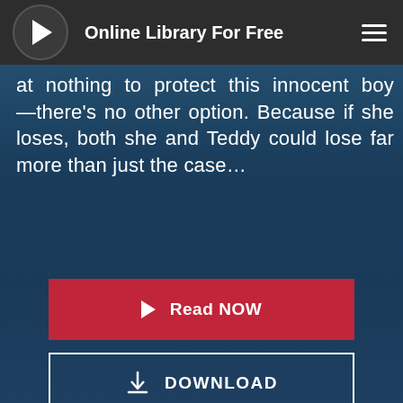Online Library For Free
at nothing to protect this innocent boy—there's no other option. Because if she loses, both she and Teddy could lose far more than just the case…
[Figure (screenshot): Red 'Read NOW' button with play triangle icon]
[Figure (screenshot): Outlined 'DOWNLOAD' button with download icon]